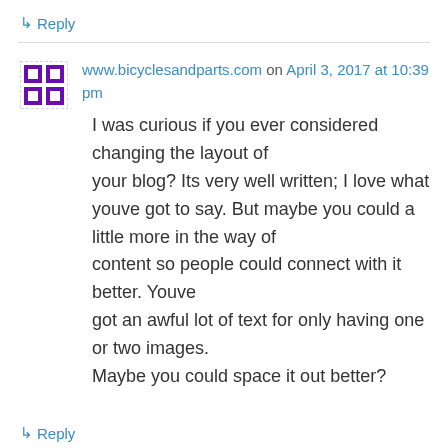↳ Reply
www.bicyclesandparts.com on April 3, 2017 at 10:39 pm
I was curious if you ever considered changing the layout of your blog? Its very well written; I love what youve got to say. But maybe you could a little more in the way of content so people could connect with it better. Youve got an awful lot of text for only having one or two images. Maybe you could space it out better?
↳ Reply